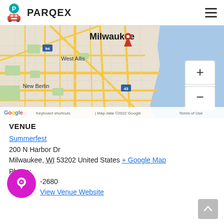PARQEX
[Figure (map): Google Map showing Milwaukee, West Allis, New Berlin area with roads and Lake Michigan. Red location pin marker visible near Milwaukee. Map includes zoom controls (+/-). Footer shows: Keyboard shortcuts | Map data ©2022 Google | Terms of Use]
VENUE
Summerfest
200 N Harbor Dr
Milwaukee, WI 53202 United States + Google Map
Phone:
-2680
View Venue Website